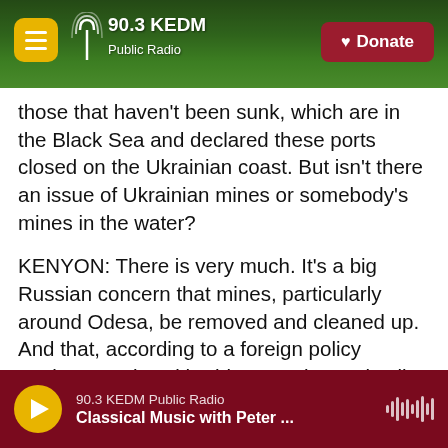90.3 KEDM Public Radio — Donate
those that haven't been sunk, which are in the Black Sea and declared these ports closed on the Ukrainian coast. But isn't there an issue of Ukrainian mines or somebody's mines in the water?
KENYON: There is very much. It's a big Russian concern that mines, particularly around Odesa, be removed and cleaned up. And that, according to a foreign policy analyst I spoke with - his name is Yoruk Isik. He's based here in Istanbul. He says it sounds like a reasonable demand, but it entails possibly great risk for Ukraine if it does de-mine Odesa. Here's a bit of what he said.
90.3 KEDM Public Radio | Classical Music with Peter ...